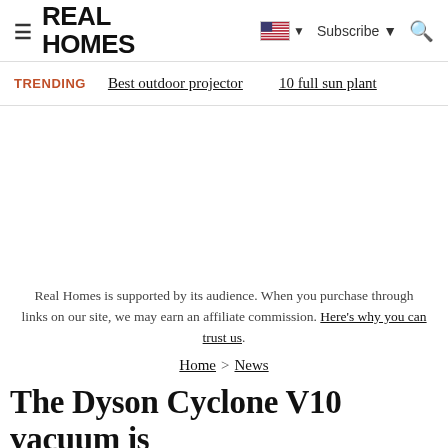REAL HOMES — Subscribe — Search
TRENDING   Best outdoor projector   10 full sun plant
Real Homes is supported by its audience. When you purchase through links on our site, we may earn an affiliate commission. Here's why you can trust us.
Home > News
The Dyson Cyclone V10 vacuum is